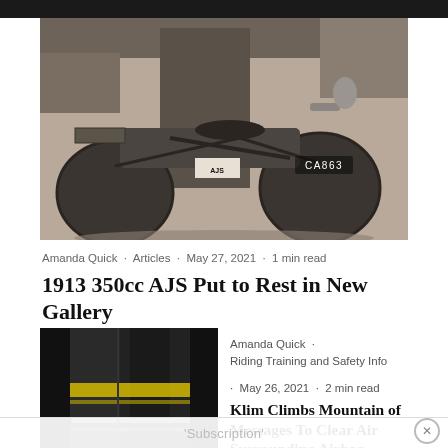[Figure (photo): Black and white vintage photograph of a man standing next to a 1913 AJS motorcycle with registration plate CA863]
Amanda Quick · Articles · May 27, 2021 · 1 min read
1913 350cc AJS Put to Rest in New Gallery
[Figure (photo): Close-up photo of motorcycle riding gear/jacket with yellow reflective stripe, dark background]
Amanda Quick ·
Riding Training and Safety Info
· May 26, 2021 · 2 min read
Klim Climbs Mountain of Messages To Clear Air Surrounding Airbag
'Subscription'